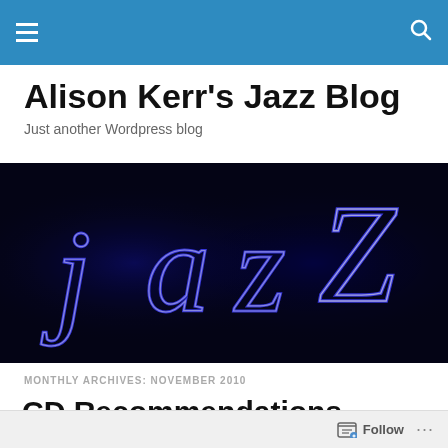Navigation header bar with menu and search icons
Alison Kerr's Jazz Blog
Just another Wordpress blog
[Figure (photo): Neon 'jazz' sign in blue light on black background]
MONTHLY ARCHIVES: NOVEMBER 2010
CD Recommendations
John Shenale's Cherry Family Journey
Follow ...